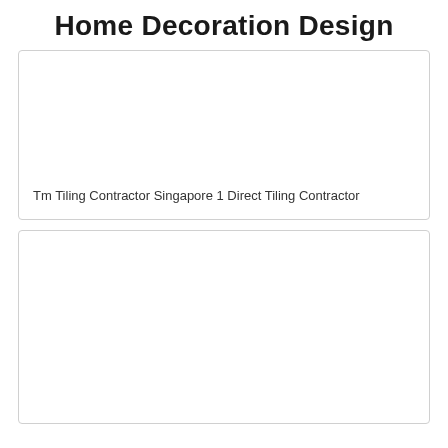Home Decoration Design
[Figure (photo): Card with image placeholder above caption text]
Tm Tiling Contractor Singapore 1 Direct Tiling Contractor
[Figure (photo): Second card with image placeholder, no caption visible]